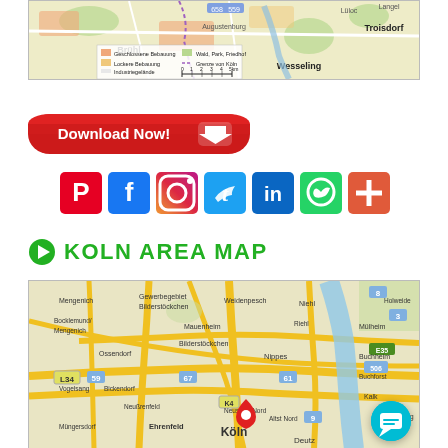[Figure (map): Top partial map of Cologne/Köln area showing Brühl, Wesseling, Troisdorf with legend: Geschlossene Bebauung, Lockere Bebauung, Industriegelände, Wald, Park, Friedhof, Grenze von Köln, scale bar]
[Figure (illustration): Red Download Now! button with white downward arrow icon]
[Figure (infographic): Row of social media icons: Pinterest, Facebook, Instagram, Twitter, LinkedIn, WhatsApp, and a plus/share icon]
KOLN AREA MAP
[Figure (map): Google Maps view of Köln/Cologne area showing districts: Mengenich, Bocklemund/Mengenich, Vogelsang, Bickendorf, Ehrenfeld, Müngersdorf, Ossendorf, Bilderstöckchen, Niehl, Riehl, Mülheim, Buchheim, Buchforst, Kalk, Höhenberg, Nippes, Neußrenfeld, Neustadt-Nord, Altst Nord, Köln, Deutz, and roads L34, 59, 67, 61, K4, 9, 55a, 506, E35, 3, 50, 8 with a red location pin on Köln and a teal chat bubble in bottom right]